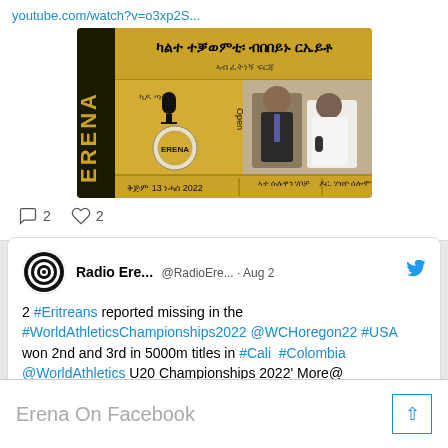youtube.com/watch?v=o3xp2S...
[Figure (screenshot): Radio Erena branded thumbnail image showing two men in a studio setting with Tigrinya text and date 13 2022, with ERENA logo on gold/yellow background]
2  2
Radio Ere... @RadioEre... · Aug 2
2 #Eritreans reported missing in the #WorldAthleticsChampionships2022 @WCHoregon22 #USA won 2nd and 3rd in 5000m titles in #Cali #Colombia @WorldAthletics U20 Championships 2022' More@
Erena On Facebook